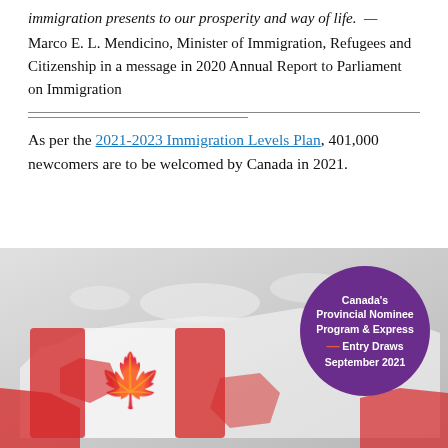immigration presents to our prosperity and way of life. — Marco E. L. Mendicino, Minister of Immigration, Refugees and Citizenship in a message in 2020 Annual Report to Parliament on Immigration
As per the 2021-2023 Immigration Levels Plan, 401,000 newcomers are to be welcomed by Canada in 2021.
[Figure (photo): Photo of Canada map with red and white maple leaf flag design, with a purple circular badge reading: Canada's Provincial Nominee Program & Express Entry Draws September 2021]